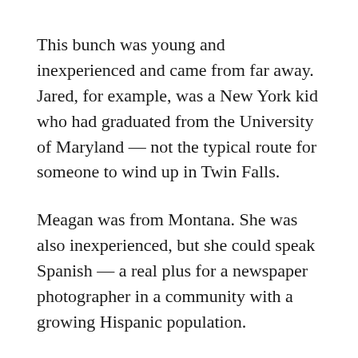This bunch was young and inexperienced and came from far away. Jared, for example, was a New York kid who had graduated from the University of Maryland — not the typical route for someone to wind up in Twin Falls.
Meagan was from Montana. She was also inexperienced, but she could speak Spanish — a real plus for a newspaper photographer in a community with a growing Hispanic population.
Cassidy had the least amount of actual experience and not much formal journalism training. But his parents' neighbor in California was a friend of Mary Junck. And she is the chief executive of the company that owns the newspaper. Because I had been successful with other young reporters and interns, I was asked